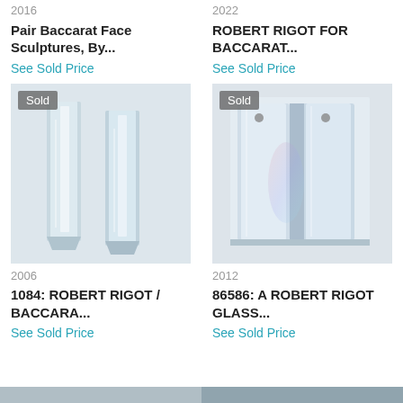2016
Pair Baccarat Face Sculptures, By...
See Sold Price
2022
ROBERT RIGOT FOR BACCARAT...
See Sold Price
[Figure (photo): Two clear crystal face sculptures standing upright, labeled Sold]
2006
1084: ROBERT RIGOT / BACCARA...
See Sold Price
[Figure (photo): A Robert Rigot glass crystal sculpture with two rectangular forms, labeled Sold]
2012
86586: A ROBERT RIGOT GLASS...
See Sold Price